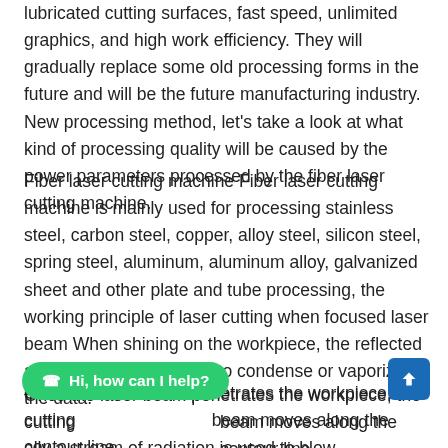lubricated cutting surfaces, fast speed, unlimited graphics, and high work efficiency. They will gradually replace some old processing forms in the future and will be the future manufacturing industry. New processing method, let's take a look at what kind of processing quality will be caused by the power parameters processed by the fiber laser cutting machine.
Fiber laser cutting machine Fiber laser cutting machine is mainly used for processing stainless steel, carbon steel, copper, alloy steel, silicon steel, spring steel, aluminum, aluminum alloy, galvanized sheet and other plate and tube processing, the working principle of laser cutting when focused laser beam When shining on the workpiece, the reflected area will heat up sharply to condense or vaporize the data.
Once the laser beam penetrates the workpiece, the cutting beam moves along the contour line ally a stream of radiation is used to blow the melt away from the incision, leaving a narrow gap between...